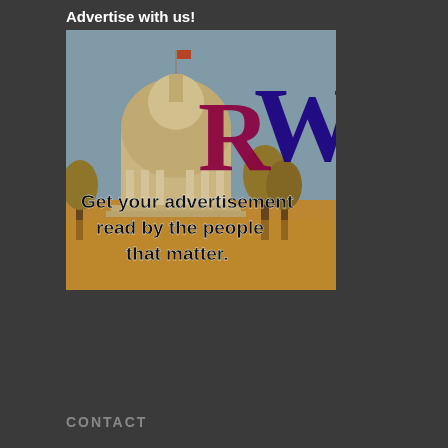Advertise with us!
[Figure (illustration): Advertisement banner showing a government capitol building with dome, overlaid with large letters R (dark red) and W (dark blue/purple), and bold black text reading 'Get your advertisement read by the people that matter.' on a warm-toned photographic background.]
CONTACT